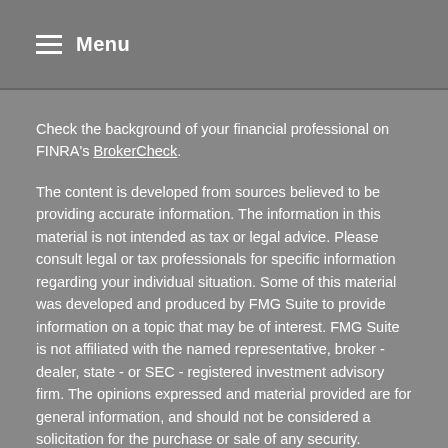Menu
Check the background of your financial professional on FINRA's BrokerCheck.
The content is developed from sources believed to be providing accurate information. The information in this material is not intended as tax or legal advice. Please consult legal or tax professionals for specific information regarding your individual situation. Some of this material was developed and produced by FMG Suite to provide information on a topic that may be of interest. FMG Suite is not affiliated with the named representative, broker - dealer, state - or SEC - registered investment advisory firm. The opinions expressed and material provided are for general information, and should not be considered a solicitation for the purchase or sale of any security.